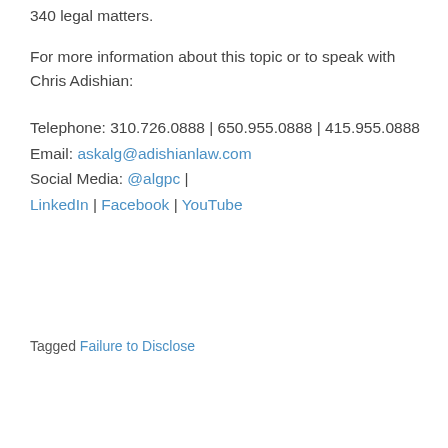340 legal matters.
For more information about this topic or to speak with Chris Adishian:
Telephone: 310.726.0888 | 650.955.0888 | 415.955.0888
Email: askalg@adishianlaw.com
Social Media: @algpc | LinkedIn | Facebook | YouTube
Tagged Failure to Disclose